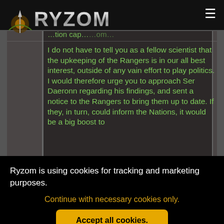[Figure (screenshot): Ryzom game website header with silver RYZOM logo on black background and hamburger menu icon on right]
[Figure (screenshot): Ryzom game content area with dark background showing green text: 'I do not have to tell you as a fellow scientist that the upkeeping of the Rangers is in our all best interest, outside of any vain effort to play politics. I would therefore urge you to approach Ser Daeronn regarding his findings, and sent a notice to the Rangers to bring them up to date. If they, in turn, could inform the Nations, it would be a big boost to' — text cut off at bottom]
Ryzom is using cookies for tracking and marketing purposes.
Continue with necessary cookies only.
Accept all cookies.